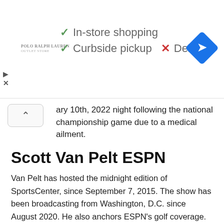[Figure (infographic): Ad banner showing store features: checkmarks for In-store shopping and Curbside pickup, X mark for Delivery, a navigation/directions diamond icon in blue, a brand logo (Polo Ralph Lauren), and play/close icons on the left side.]
ary 10th, 2022 night following the national championship game due to a medical ailment.
Scott Van Pelt ESPN
Van Pelt has hosted the midnight edition of SportsCenter, since September 7, 2015. The show has been broadcasting from Washington, D.C. since August 2020. He also anchors ESPN's golf coverage. These include the Masters and the PGA Championship, as well as SportsCenter reports and specials from the events. Van Pelt joined ESPN as the network's lead professional golf correspondent in early 2001. He quickly rose through the